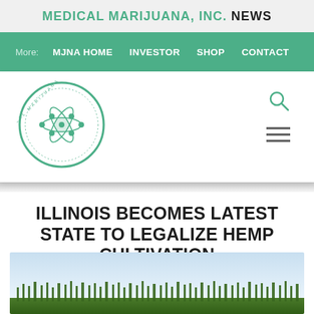MEDICAL MARIJUANA, INC. NEWS
More: MJNA HOME  INVESTOR  SHOP  CONTACT
[Figure (logo): Medical Marijuana Inc. circular logo with green border and leaf/molecule design]
ILLINOIS BECOMES LATEST STATE TO LEGALIZE HEMP CULTIVATION
[Figure (photo): Photo of hemp field with green plants under a light blue sky]